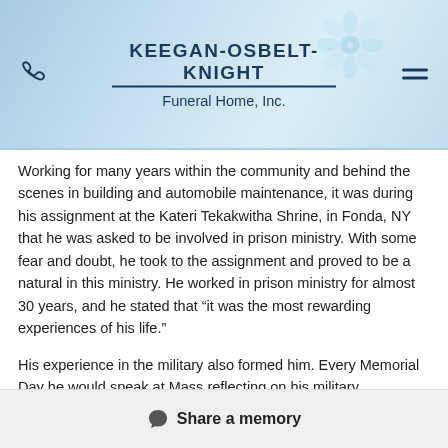KEEGAN-OSBELT-KNIGHT Funeral Home, Inc.
Working for many years within the community and behind the scenes in building and automobile maintenance, it was during his assignment at the Kateri Tekakwitha Shrine, in Fonda, NY that he was asked to be involved in prison ministry. With some fear and doubt, he took to the assignment and proved to be a natural in this ministry. He worked in prison ministry for almost 30 years, and he stated that “it was the most rewarding experiences of his life.”
His experience in the military also formed him. Every Memorial Day he would speak at Mass reflecting on his military experience. He often told the friars that he was honored to say that he was a former Marine and he stayed involved in Veterans Affairs throughout his life.
In May 2017, Brother Ken received the Centennial Medal from Catholic Charities of Albany...
Share a memory